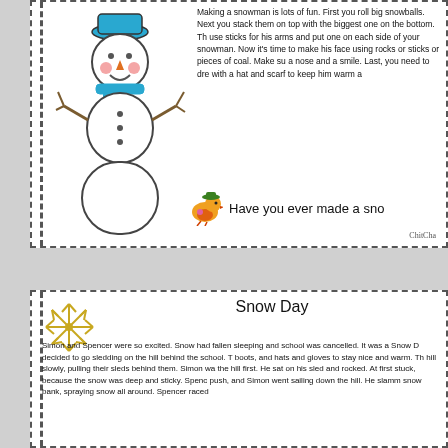[Figure (illustration): A hand-drawn snowman wearing a blue hat and blue scarf, with stick arms, pink cheeks, and a carrot nose, outlined in black on white background.]
Making a snowman is lots of fun. First you roll big snowballs. Next you stack them on top with the biggest one on the bottom. Then use sticks for his arms and put one on each side of your snowman. Now it's time to make his face using rocks or sticks or pieces of coal. Make sure he has a nose and a smile. Last, you need to dress him with a hat and scarf to keep him warm a
[Figure (illustration): A small cartoon orange bird with a green hat and pink dot on its wing.]
Have you ever made a sno
ChitCha
Snow Day
Simon and Spencer were so excited. Snow had fallen sleeping and school was cancelled. It was a Snow D decided to go sledding on the hill behind the school. T boots, and hats and gloves to stay nice and warm. Th hill slowly, pulling their sleds behind them. Simon wa the hill first. He sat on his sled and rocked. At first stuck, because the snow was deep and sticky. Spenc push, and Simon went sailing down the hill. He slamm snow bank, spraying snow all around. Spencer raced